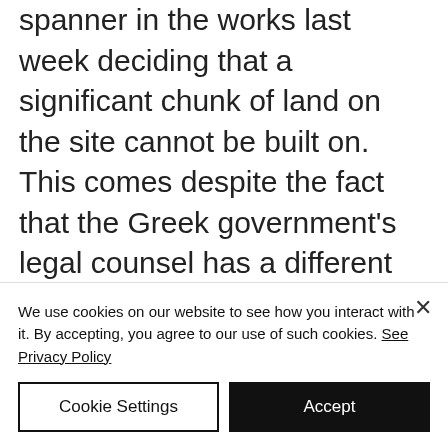spanner in the works last week deciding that a significant chunk of land on the site cannot be built on. This comes despite the fact that the Greek government's legal counsel has a different opinion, effectively ruling that there is no problem with forest land on the site.
The contradictory nature of Greece's public services is a concern for any investor and an embarrassment for Prime Minister Alexis Tsipras, who
We use cookies on our website to see how you interact with it. By accepting, you agree to our use of such cookies. See Privacy Policy